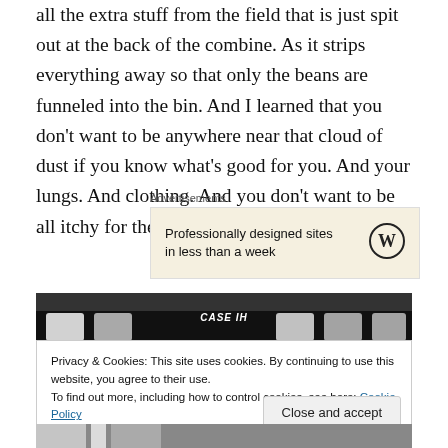all the extra stuff from the field that is just spit out at the back of the combine. As it strips everything away so that only the beans are funneled into the bin. And I learned that you don't want to be anywhere near that cloud of dust if you know what's good for you. And your lungs. And clothing. And you don't want to be all itchy for the rest of the day.
Advertisements
[Figure (other): WordPress advertisement: 'Professionally designed sites in less than a week' with WordPress logo]
[Figure (photo): Photo of a Case IH combine harvester cab roof with lights]
Privacy & Cookies: This site uses cookies. By continuing to use this website, you agree to their use.
To find out more, including how to control cookies, see here: Cookie Policy
Close and accept